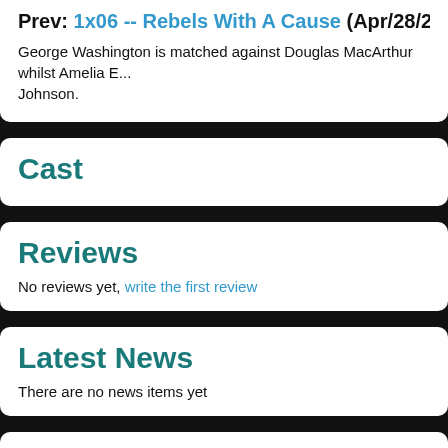Prev: 1x06 -- Rebels With A Cause (Apr/28/20...)
George Washington is matched against Douglas MacArthur whilst Amelia E... Johnson.
Cast
Reviews
No reviews yet, write the first review
Latest News
There are no news items yet
Crew